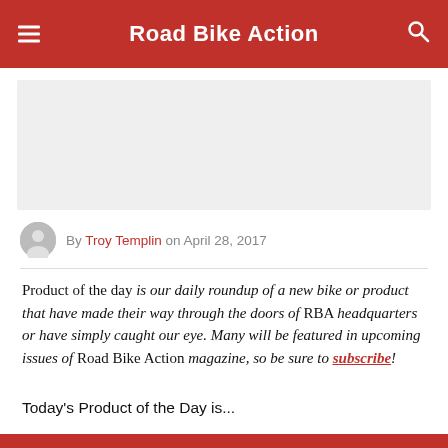Road Bike Action
[Figure (other): Gray advertisement placeholder block]
By Troy Templin on April 28, 2017
Product of the day is our daily roundup of a new bike or product that have made their way through the doors of RBA headquarters or have simply caught our eye. Many will be featured in upcoming issues of Road Bike Action magazine, so be sure to subscribe!
Today's Product of the Day is...